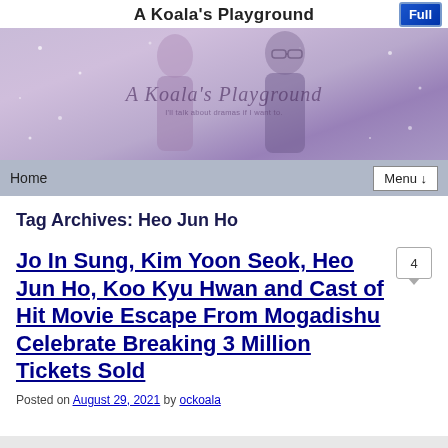A Koala's Playground
[Figure (illustration): Banner image for 'A Koala's Playground' blog, showing two figures (a woman and a man with glasses) against a purple/lavender sparkly background, with cursive text overlay reading 'A Koala's Playground' and subtitle 'I'll talk about dramas if I want to.']
Tag Archives: Heo Jun Ho
Jo In Sung, Kim Yoon Seok, Heo Jun Ho, Koo Kyu Hwan and Cast of Hit Movie Escape From Mogadishu Celebrate Breaking 3 Million Tickets Sold
Posted on August 29, 2021 by ockoala